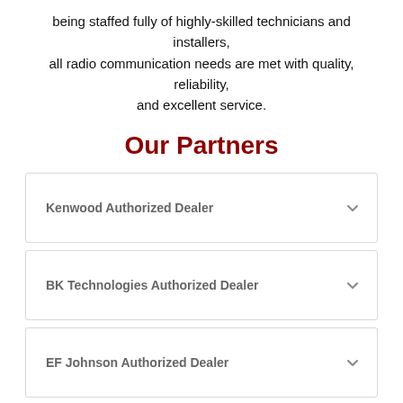being staffed fully of highly-skilled technicians and installers, all radio communication needs are met with quality, reliability, and excellent service.
Our Partners
Kenwood Authorized Dealer
BK Technologies Authorized Dealer
EF Johnson Authorized Dealer
Contact our Sales Team